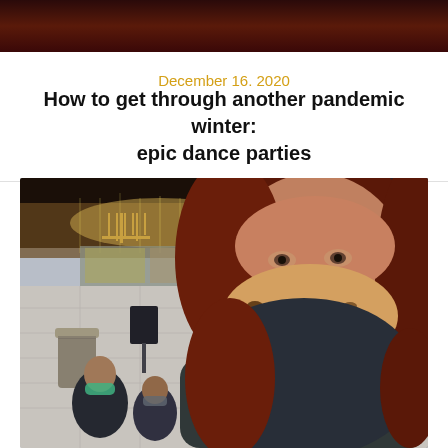[Figure (photo): Dark reddish-brown decorative header bar at top of page]
December 16, 2020
How to get through another pandemic winter: epic dance parties
[Figure (photo): Woman with red hair wearing a leopard-print face mask taking a selfie in a shopping mall. In the background is a Christmas-decorated corridor with a Cheryl's store sign, twinkling lights, and two other people wearing masks sitting in the background.]